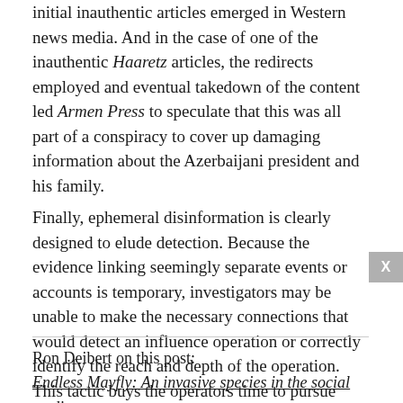initial inauthentic articles emerged in Western news media. And in the case of one of the inauthentic Haaretz articles, the redirects employed and eventual takedown of the content led Armen Press to speculate that this was all part of a conspiracy to cover up damaging information about the Azerbaijani president and his family.
Finally, ephemeral disinformation is clearly designed to elude detection. Because the evidence linking seemingly separate events or accounts is temporary, investigators may be unable to make the necessary connections that would detect an influence operation or correctly identify the reach and depth of the operation. This tactic buys the operators time to pursue their objectives and experiment. Endless Mayfly has been active for years despite being detected by multiple individuals
Ron Deibert on this post:
Endless Mayfly: An invasive species in the social media ecosystem